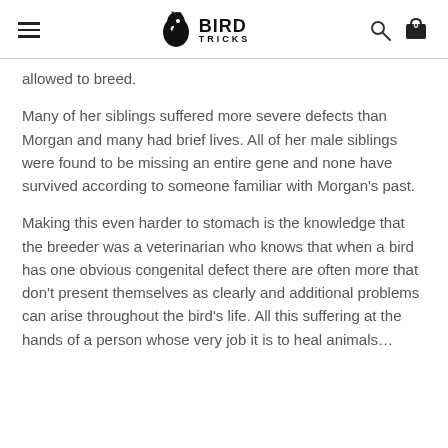BIRD TRICKS
allowed to breed.
Many of her siblings suffered more severe defects than Morgan and many had brief lives. All of her male siblings were found to be missing an entire gene and none have survived according to someone familiar with Morgan's past.
Making this even harder to stomach is the knowledge that the breeder was a veterinarian who knows that when a bird has one obvious congenital defect there are often more that don't present themselves as clearly and additional problems can arise throughout the bird's life. All this suffering at the hands of a person whose very job it is to heal animals…